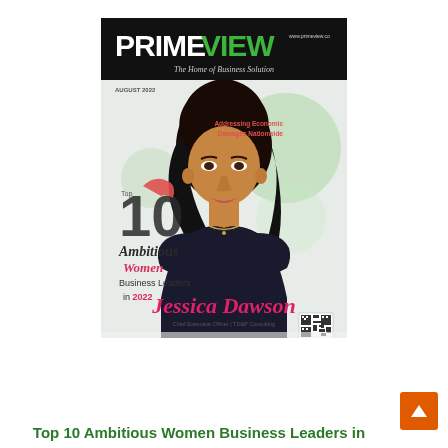[Figure (photo): Magazine cover of PrimeView, August 2022 issue. Features Jessica Dawson, Chief Executive Officer of TD&P Consulting, as the cover person. Title reads 'Top 10 Ambitious Women Business Leaders in 2022'. Tagline: 'The Home of Business Solution'. Pink text 'Jessica Dawson' at the bottom. QR code in lower right. Side text: 'Addressing Economic Damages Nationwide'.]
Top 10 Ambitious Women Business Leaders in...